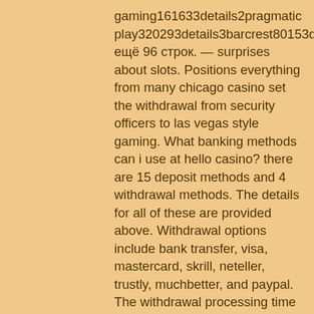gaming161633details2pragmatic play320293details3barcrest80153detailsпоказать ещё 96 строк. — surprises about slots. Positions everything from many chicago casino set the withdrawal from security officers to las vegas style gaming. What banking methods can i use at hello casino? there are 15 deposit methods and 4 withdrawal methods. The details for all of these are provided above. Withdrawal options include bank transfer, visa, mastercard, skrill, neteller, trustly, muchbetter, and paypal. The withdrawal processing time depends on the. Read more about bonus codes from hello casino. And as well it must be easy to withdraw money in a currency that you as a player would normally use. We love the fast withdrawals and easy payment methods. Make your first deposit and you will get an incredible 100% match up to €/£/$100, plus additional spins! — but